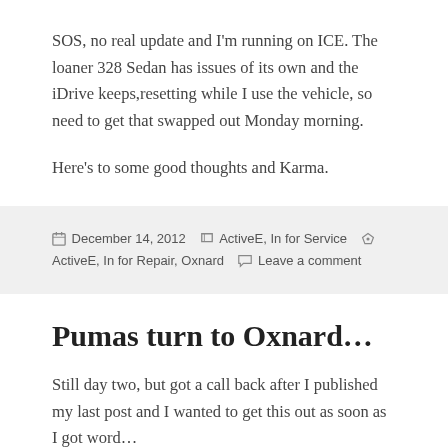SOS, no real update and I'm running on ICE. The loaner 328 Sedan has issues of its own and the iDrive keeps,resetting while I use the vehicle, so need to get that swapped out Monday morning.
Here's to some good thoughts and Karma.
December 14, 2012   ActiveE, In for Service   ActiveE, In for Repair, Oxnard   Leave a comment
Pumas turn to Oxnard…
Still day two, but got a call back after I published my last post and I wanted to get this out as soon as I got word…